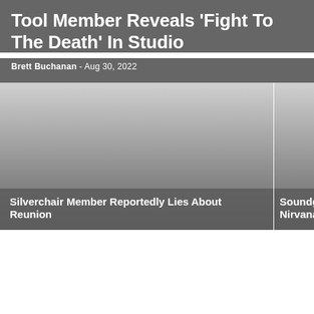Tool Member Reveals ‘Fight To The Death’ In Studio
Brett Buchanan - Aug 30, 2022
[Figure (photo): Gray gradient placeholder image for article about Silverchair Member Reportedly Lies About Reunion]
Silverchair Member Reportedly Lies About Reunion
[Figure (photo): Gray gradient placeholder image for article about Soundgar... Nirvana R... (partially visible)]
Soundgar... Nirvana R...